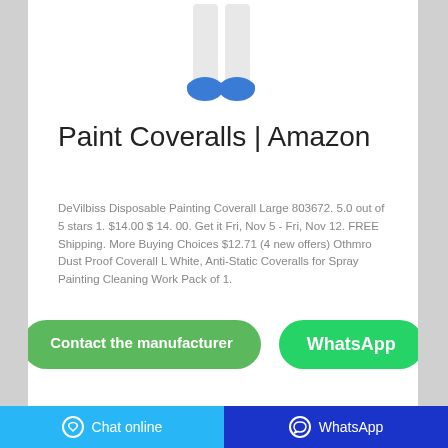[Figure (photo): Person wearing white coverall with blue shoe covers, lower body visible]
Paint Coveralls | Amazon
DeVilbiss Disposable Painting Coverall Large 803672. 5.0 out of 5 stars 1. $14.00 $ 14. 00. Get it Fri, Nov 5 - Fri, Nov 12. FREE Shipping. More Buying Choices $12.71 (4 new offers) Othmro Dust Proof Coverall L White, Anti-Static Coveralls for Spray Painting Cleaning Work Pack of 1.
[Figure (screenshot): Contact the manufacturer and WhatsApp buttons]
[Figure (photo): Partial product image at bottom of card]
Chat online   WhatsApp